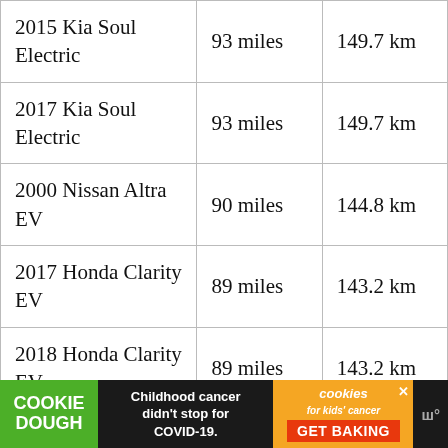| 2015 Kia Soul Electric | 93 miles | 149.7 km |
| 2017 Kia Soul Electric | 93 miles | 149.7 km |
| 2000 Nissan Altra EV | 90 miles | 144.8 km |
| 2017 Honda Clarity EV | 89 miles | 143.2 km |
| 2018 Honda Clarity EV | 89 miles | 143.2 km |
| 2019 Honda Clarity EV | 89 miles | 143.2 km |
[Figure (other): Advertisement banner for Cookie Dough fundraising for kids cancer / cookies for kids cancer, with text 'Childhood cancer didn't stop for COVID-19. GET BAKING']